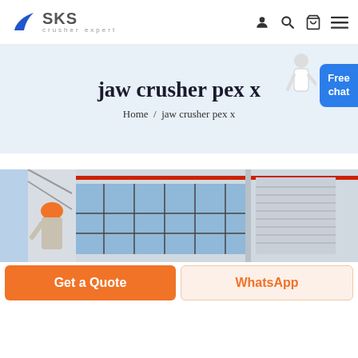SKS crusher expert — navigation bar with user, search, cart, menu icons
jaw crusher pex x
Home / jaw crusher pex x
[Figure (photo): Industrial factory building interior/exterior showing large glass windows, steel structure, red pipe along ceiling, with a worker in orange helmet on the left side of the image.]
Get a Quote
WhatsApp